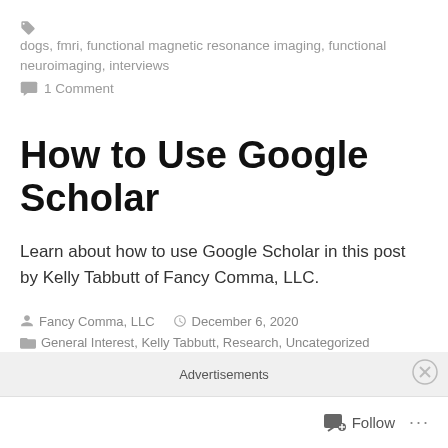🏷 dogs, fmri, functional magnetic resonance imaging, functional neuroimaging, interviews
💬 1 Comment
How to Use Google Scholar
Learn about how to use Google Scholar in this post by Kelly Tabbutt of Fancy Comma, LLC.
Fancy Comma, LLC   December 6, 2020
General Interest, Kelly Tabbutt, Research, Uncategorized
Advertisements
Follow ...